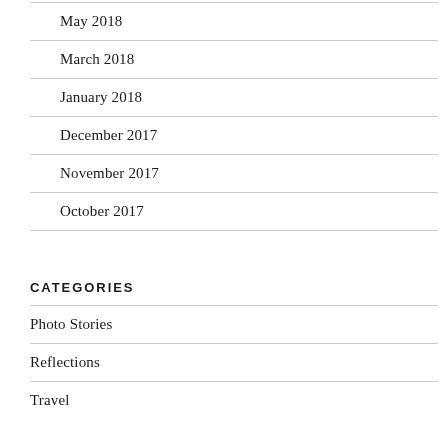May 2018
March 2018
January 2018
December 2017
November 2017
October 2017
CATEGORIES
Photo Stories
Reflections
Travel